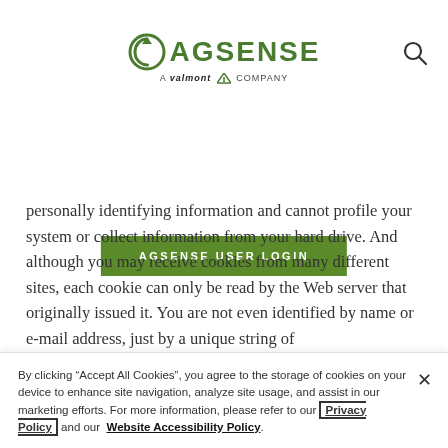[Figure (logo): AgSense logo with circular arrow icon in green, 'AGSENSE' text in green, subtitle 'A valmont V COMPANY']
[Figure (other): Hamburger menu icon (three horizontal lines) on the left]
[Figure (other): Search (magnifying glass) icon on the right]
[Figure (other): Green button labeled 'AGSENSE USER LOGIN']
personally identifying information and cannot profile your system or collect information from your hard drive. And although you may receive cookies from many different sites, each cookie can only be read by the Web server that originally issued it. You are not even identified by name or e-mail address, just by a unique string of
By clicking "Accept All Cookies", you agree to the storage of cookies on your device to enhance site navigation, analyze site usage, and assist in our marketing efforts. For more information, please refer to our Privacy Policy and our Website Accessibility Policy.